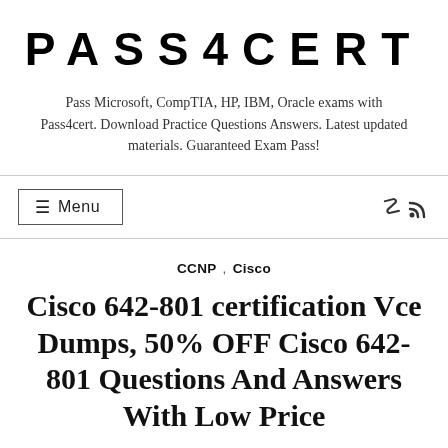PASS4CERT
Pass Microsoft, CompTIA, HP, IBM, Oracle exams with Pass4cert. Download Practice Questions Answers. Latest updated materials. Guaranteed Exam Pass!
≡ Menu
CCNP , Cisco
Cisco 642-801 certification Vce Dumps, 50% OFF Cisco 642-801 Questions And Answers With Low Price